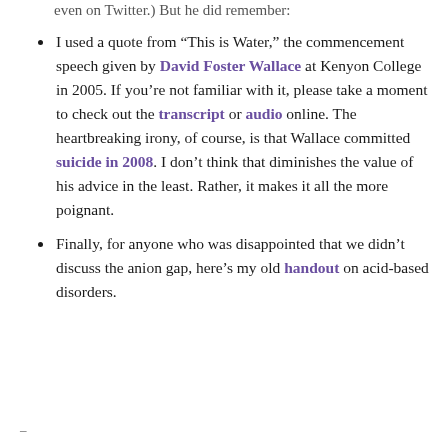even on Twitter.) But he did remember:
I used a quote from “This is Water,” the commencement speech given by David Foster Wallace at Kenyon College in 2005. If you’re not familiar with it, please take a moment to check out the transcript or audio online. The heartbreaking irony, of course, is that Wallace committed suicide in 2008. I don’t think that diminishes the value of his advice in the least. Rather, it makes it all the more poignant.
Finally, for anyone who was disappointed that we didn’t discuss the anion gap, here’s my old handout on acid-based disorders.
–